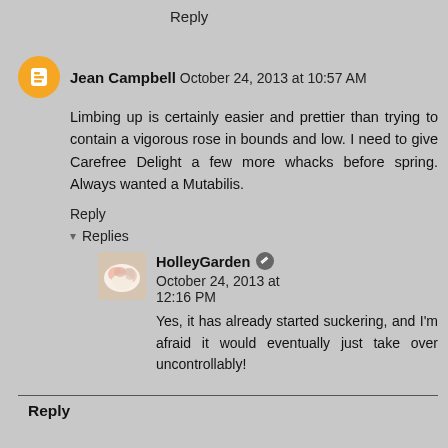Reply
Jean Campbell  October 24, 2013 at 10:57 AM
Limbing up is certainly easier and prettier than trying to contain a vigorous rose in bounds and low. I need to give Carefree Delight a few more whacks before spring. Always wanted a Mutabilis.
Reply
▾  Replies
HolleyGarden  October 24, 2013 at 12:16 PM
Yes, it has already started suckering, and I'm afraid it would eventually just take over uncontrollably!
Reply